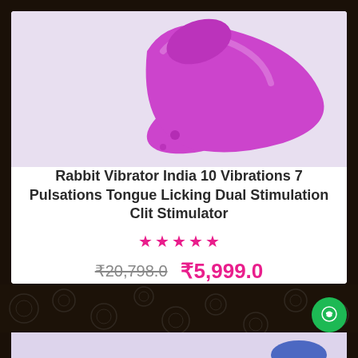[Figure (photo): Purple/magenta rabbit vibrator product photo on light lavender background, showing the elongated curved device]
Rabbit Vibrator India 10 Vibrations 7 Pulsations Tongue Licking Dual Stimulation Clit Stimulator
★★★★★ (5 stars)
₹20,798.0  ₹5,999.0
[Figure (photo): Partially visible second product card at the bottom of the page on lavender background]